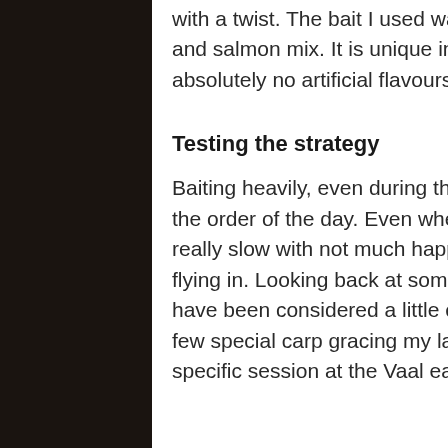with a twist. The bait I used was a homemade spicy crab and salmon mix. It is unique in the sense that it has absolutely no artificial flavours or colourants.
Testing the strategy
Baiting heavily, even during the toughest sessions, was the order of the day. Even when the fishing seemed really slow with not much happening, I kept the boilies flying in. Looking back at some of my sessions, it might have been considered a little crazy had it not been for a few special carp gracing my landing net. I remember one specific session at the Vaal earlier this